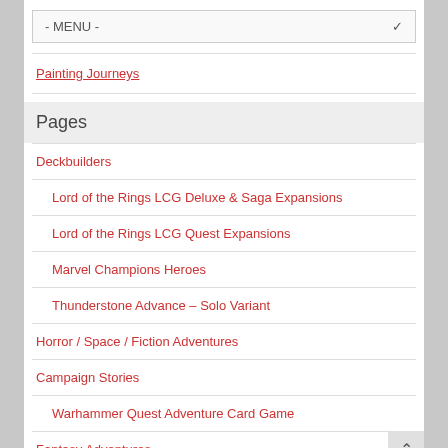- MENU -
Painting Journeys
Pages
Deckbuilders
Lord of the Rings LCG Deluxe & Saga Expansions
Lord of the Rings LCG Quest Expansions
Marvel Champions Heroes
Thunderstone Advance – Solo Variant
Horror / Space / Fiction Adventures
Campaign Stories
Warhammer Quest Adventure Card Game
Fantasy Adventures